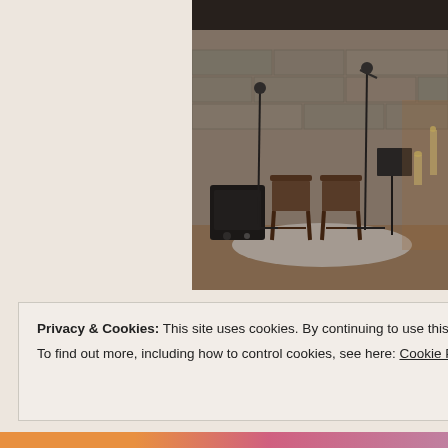[Figure (photo): Indoor venue or church setting with microphone stands, two wooden chairs on a white rug, a black amplifier on the left, music stands, and candles/decorations along a stone wall in the background. Warm, dimly lit atmosphere suggesting a musical performance setup.]
Privacy & Cookies: This site uses cookies. By continuing to use this website, you agree to their use.
To find out more, including how to control cookies, see here: Cookie Policy
Close and accept